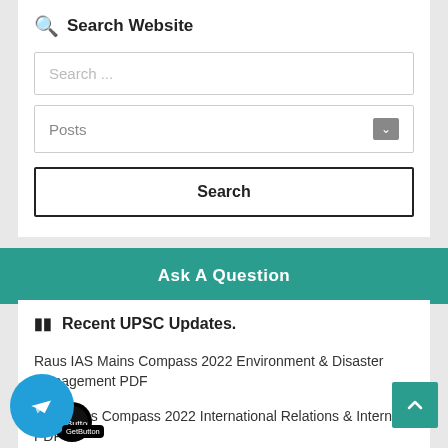Search Website
Search ...
Posts
Search
Ask A Question
Recent UPSC Updates.
Raus IAS Mains Compass 2022 Environment & Disaster Management PDF
IAS Mains Compass 2022 International Relations & International PDF